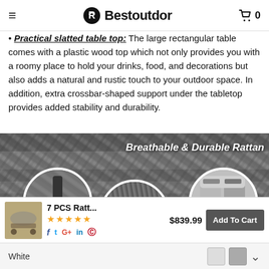Bestoutdor
Practical slatted table top: The large rectangular table comes with a plastic wood top which not only provides you with a roomy place to hold your drinks, food, and decorations but also adds a natural and rustic touch to your outdoor space. In addition, extra crossbar-shaped support under the tabletop provides added stability and durability.
[Figure (photo): Rattan furniture detail photo with 'Breathable & Durable Rattan' text overlay and three circular inset detail images showing frame construction, weave texture, and anti-slip foot pads]
7 PCS Ratt...
$839.99
Add To Cart
White